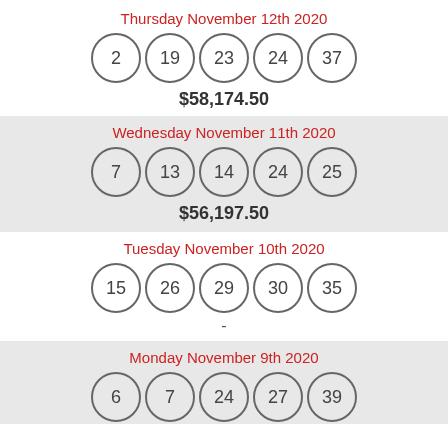Thursday November 12th 2020
2  19  23  24  37
$58,174.50
Wednesday November 11th 2020
7  13  14  24  25
$56,197.50
Tuesday November 10th 2020
15  26  29  30  35
-
Monday November 9th 2020
6  7  24  27  39